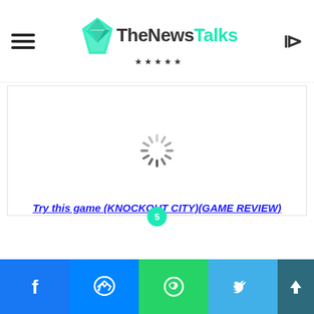TheNewsTalks
[Figure (other): Loading spinner (circular progress indicator) in center of white content area]
Try this game (KNOCKOUT CITY)(GAME REVIEW)
[Figure (other): Social share bar with Facebook, Messenger, WhatsApp, Twitter, and scroll-up buttons]